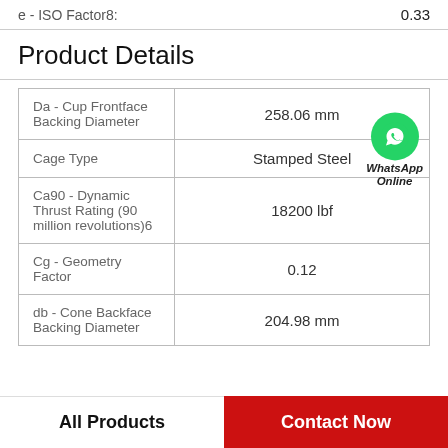e - ISO Factor8:    0.33
Product Details
| Property | Value |
| --- | --- |
| Da - Cup Frontface Backing Diameter | 258.06 mm |
| Cage Type | Stamped Steel |
| Ca90 - Dynamic Thrust Rating (90 million revolutions)6 | 18200 lbf |
| Cg - Geometry Factor | 0.12 |
| db - Cone Backface Backing Diameter | 204.98 mm |
[Figure (logo): WhatsApp Online button with green circle phone icon]
All Products
Contact Now